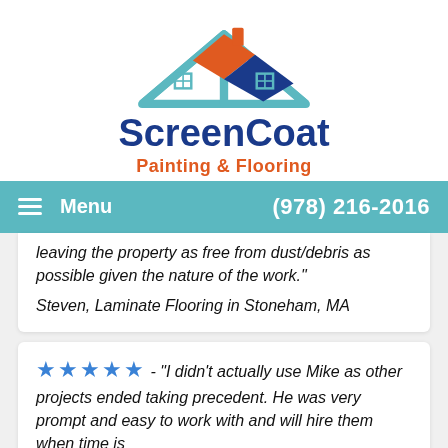[Figure (logo): ScreenCoat Painting & Flooring logo with house illustration featuring teal roof lines, orange and blue roof sections, and blue company name text with orange subtitle]
ScreenCoat
Painting & Flooring
Menu  (978) 216-2016
leaving the property as free from dust/debris as possible given the nature of the work."
Steven, Laminate Flooring in Stoneham, MA
★★★★★ - "I didn't actually use Mike as other projects ended taking precedent. He was very prompt and easy to work with and will hire them when time is